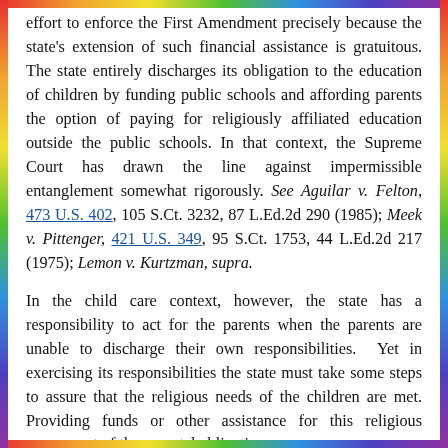effort to enforce the First Amendment precisely because the state's extension of such financial assistance is gratuitous. The state entirely discharges its obligation to the education of children by funding public schools and affording parents the option of paying for religiously affiliated education outside the public schools. In that context, the Supreme Court has drawn the line against impermissible entanglement somewhat rigorously. See Aguilar v. Felton, 473 U.S. 402, 105 S.Ct. 3232, 87 L.Ed.2d 290 (1985); Meek v. Pittenger, 421 U.S. 349, 95 S.Ct. 1753, 44 L.Ed.2d 217 (1975); Lemon v. Kurtzman, supra.
In the child care context, however, the state has a responsibility to act for the parents when the parents are unable to discharge their own responsibilities. Yet in exercising its responsibilities the state must take some steps to assure that the religious needs of the children are met. Providing funds or other assistance for this religious component of the parental obligation